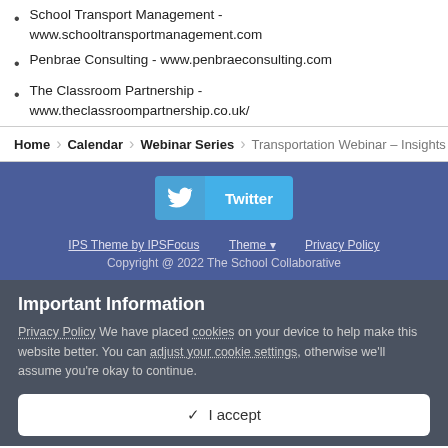School Transport Management - www.schooltransportmanagement.com
Penbrae Consulting - www.penbraeconsulting.com
The Classroom Partnership - www.theclassroompartnership.co.uk/
Home > Calendar > Webinar Series > Transportation Webinar – Insights
[Figure (other): Twitter social share button]
IPS Theme by IPSFocus   Theme ▾   Privacy Policy
Copyright @ 2022 The School Collaborative
Important Information
Privacy Policy We have placed cookies on your device to help make this website better. You can adjust your cookie settings, otherwise we'll assume you're okay to continue.
✓  I accept